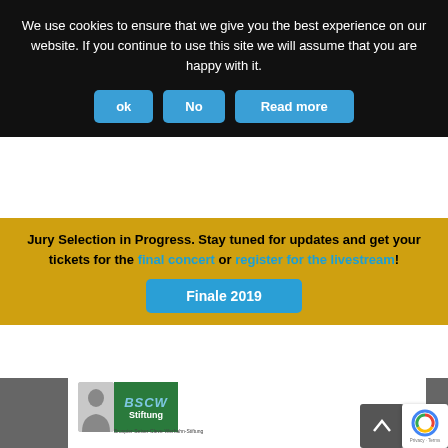We use cookies to ensure that we give you the best experience on our website. If you continue to use this site we will assume that you are happy with it.
ok | No | Read more
Jury Selection in Progress. Stay tuned for updates and get your tickets for the final concert or register for the livestream!
Finale 2019
[Figure (logo): BSCW Stiftung logo (Brospier-Seiser-Cleve-Werhahn-Stiftung) with green background and portrait image]
[Figure (logo): GMS CNC-Technik GmbH logo in green and dark green italic bold text]
[Figure (logo): PE-Förderungen für Studierende der Musik e.V. logo with orange treble clef and text]